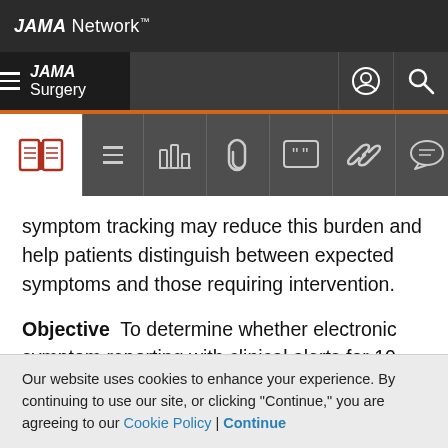JAMA Network
JAMA Surgery
symptom tracking may reduce this burden and help patients distinguish between expected symptoms and those requiring intervention.
Objective  To determine whether electronic symptom reporting with clinical alerts for 10 days after ambulatory cancer surgery is associated with a reduction in potentially avoidable urgent care visits, defined as a visit not leading to admission.
Our website uses cookies to enhance your experience. By continuing to use our site, or clicking "Continue," you are agreeing to our Cookie Policy | Continue